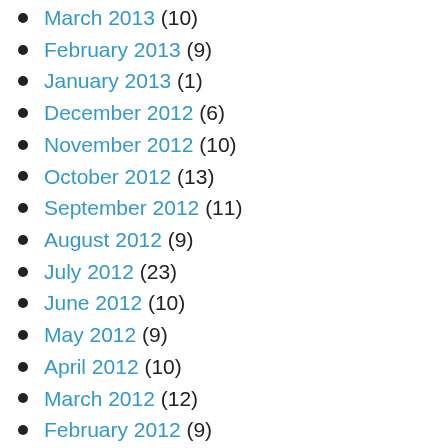March 2013 (10)
February 2013 (9)
January 2013 (1)
December 2012 (6)
November 2012 (10)
October 2012 (13)
September 2012 (11)
August 2012 (9)
July 2012 (23)
June 2012 (10)
May 2012 (9)
April 2012 (10)
March 2012 (12)
February 2012 (9)
January 2012 (8)
December 2011 (9)
November 2011 (10)